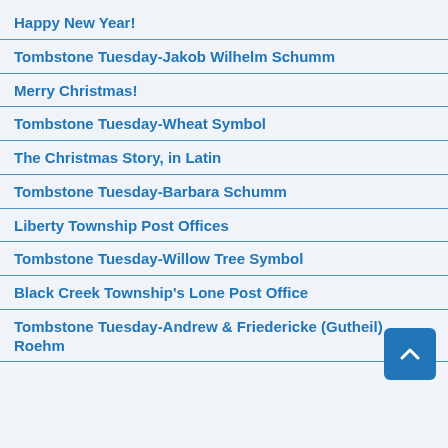Happy New Year!
Tombstone Tuesday-Jakob Wilhelm Schumm
Merry Christmas!
Tombstone Tuesday-Wheat Symbol
The Christmas Story, in Latin
Tombstone Tuesday-Barbara Schumm
Liberty Township Post Offices
Tombstone Tuesday-Willow Tree Symbol
Black Creek Township's Lone Post Office
Tombstone Tuesday-Andrew & Friedericke (Gutheil) Roehm